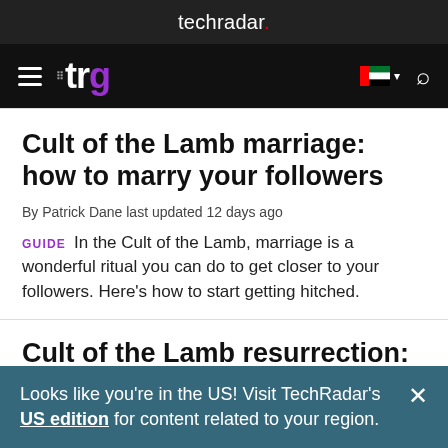techradar.
[Figure (logo): TRG navigation bar with hamburger menu, trg logo in white and purple, UAE flag icon, and search icon]
Cult of the Lamb marriage: how to marry your followers
By Patrick Dane last updated 12 days ago
GUIDE  In the Cult of the Lamb, marriage is a wonderful ritual you can do to get closer to your followers. Here's how to start getting hitched.
Cult of the Lamb resurrection: bring your followers back
Looks like you're in the US! Visit TechRadar's US edition for content related to your region.